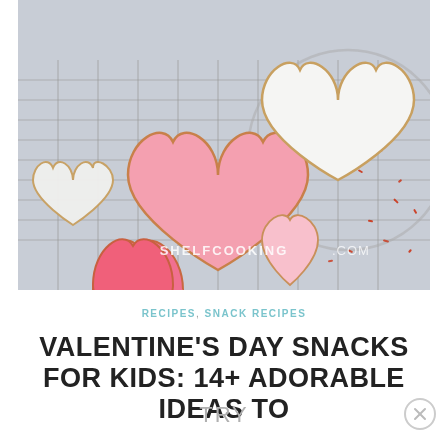[Figure (photo): Heart-shaped sugar cookies with pink and white icing on a wire cooling rack, with red sugar sprinkles scattered around. A watermark reads SHELFCOOKING.COM.]
RECIPES, SNACK RECIPES
VALENTINE'S DAY SNACKS FOR KIDS: 14+ ADORABLE IDEAS TO TRY